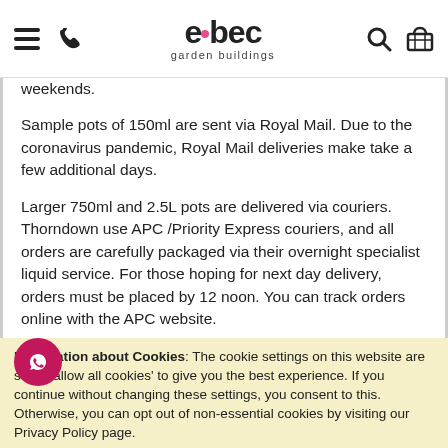elbec garden buildings — navigation header
weekends.
Sample pots of 150ml are sent via Royal Mail. Due to the coronavirus pandemic, Royal Mail deliveries make take a few additional days.
Larger 750ml and 2.5L pots are delivered via couriers. Thorndown use APC /Priority Express couriers, and all orders are carefully packaged via their overnight specialist liquid service. For those hoping for next day delivery, orders must be placed by 12 noon. You can track orders online with the APC website.
Additional charges may have been applied for deliveries to specific regions including Highland and Islands, Ireland and Northern Ireland. Please contact us for more information regarding delivery and charges to these regions.
Information about Cookies: The cookie settings on this website are set to 'allow all cookies' to give you the best experience. If you continue without changing these settings, you consent to this. Otherwise, you can opt out of non-essential cookies by visiting our Privacy Policy page.